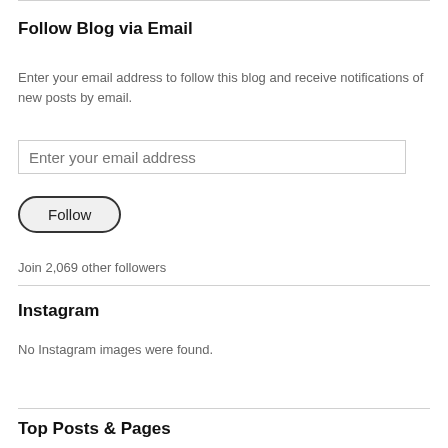Follow Blog via Email
Enter your email address to follow this blog and receive notifications of new posts by email.
[Figure (other): Email input field with placeholder text 'Enter your email address']
[Figure (other): Follow button with rounded border]
Join 2,069 other followers
Instagram
No Instagram images were found.
Top Posts & Pages